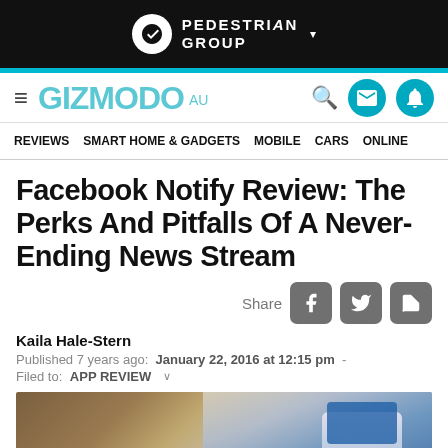PEDESTRIAN GROUP
GIZMODO AU — REVIEWS  SMART HOME & GADGETS  MOBILE  CARS  ONLINE
Facebook Notify Review: The Perks And Pitfalls Of A Never-Ending News Stream
Share
Kaila Hale-Stern
Published 7 years ago:  January 22, 2016 at 12:15 pm  -
Filed to:  APP REVIEW
[Figure (photo): Blurred photo of a smartphone on a wooden surface, showing a blue app interface]